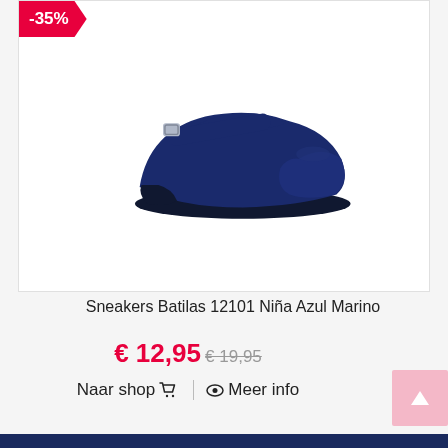[Figure (photo): Navy blue Mary Jane flat shoe (Sneakers Batilas 12101 Niña Azul Marino) with ankle strap and buckle, shown on white background with a -35% discount badge in the top left corner.]
Sneakers Batilas 12101 Niña Azul Marino
€ 12,95 € 19,95
Naar shop  |  Meer info